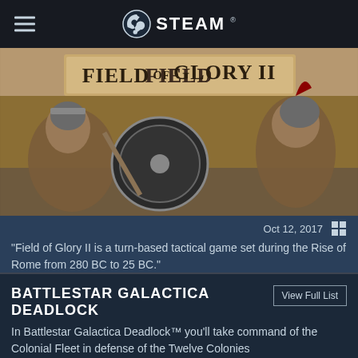STEAM
[Figure (screenshot): Field of Glory II game banner image showing ancient warriors in mosaic style with the title 'Field of Glory II']
Oct 12, 2017
“Field of Glory II is a turn-based tactical game set during the Rise of Rome from 280 BC to 25 BC.”
BATTLESTAR GALACTICA DEADLOCK
In Battlestar Galactica Deadlock™ you’ll take command of the Colonial Fleet in defense of the Twelve Colonies